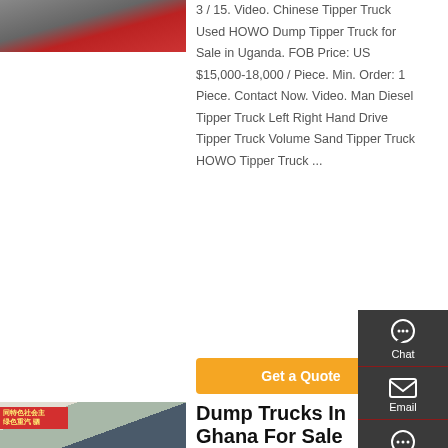[Figure (photo): Red Chinese tipper truck, partial view]
3 / 15. Video. Chinese Tipper Truck Used HOWO Dump Tipper Truck for Sale in Uganda. FOB Price: US $15,000-18,000 / Piece. Min. Order: 1 Piece. Contact Now. Video. Man Diesel Tipper Truck Left Right Hand Drive Tipper Truck Volume Sand Tipper Truck HOWO Tipper Truck ...
[Figure (other): Orange Get a Quote button]
[Figure (photo): Dump truck in Ghana with red banner showing Chinese text]
Dump Trucks In Ghana For Sale
[Figure (other): Right sidebar with Chat, Email, Contact, Top navigation icons]